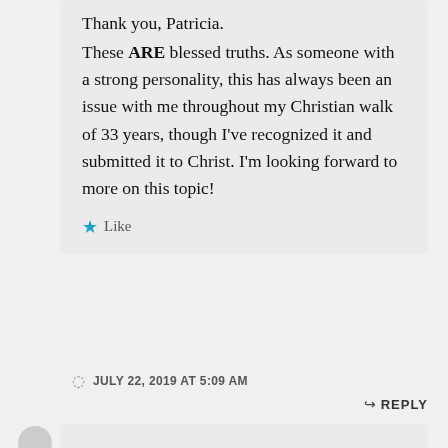Thank you, Patricia. These ARE blessed truths. As someone with a strong personality, this has always been an issue with me throughout my Christian walk of 33 years, though I've recognized it and submitted it to Christ. I'm looking forward to more on this topic!
★ Like
JULY 22, 2019 AT 5:09 AM
↳ REPLY